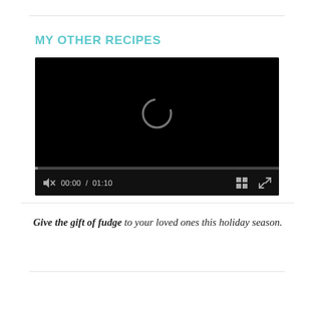MY OTHER RECIPES
[Figure (screenshot): Embedded video player with black background showing a loading spinner, a progress bar, and controls displaying mute icon, 00:00 / 01:10 timestamp, grid/chapters icon, and fullscreen icon.]
Give the gift of fudge to your loved ones this holiday season.